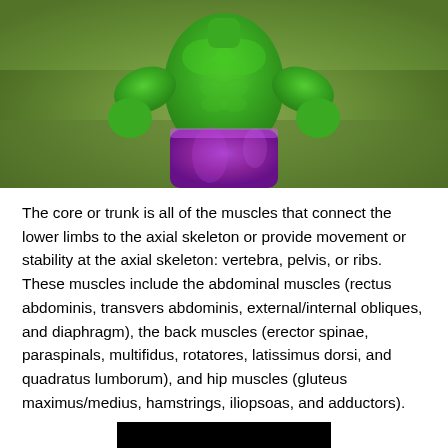[Figure (photo): Photo of a green Hulk action figure with a muscular torso, purple pants, set against a blurred outdoor green background.]
The core or trunk is all of the muscles that connect the lower limbs to the axial skeleton or provide movement or stability at the axial skeleton: vertebra, pelvis, or ribs. These muscles include the abdominal muscles (rectus abdominis, transvers abdominis, external/internal obliques, and diaphragm), the back muscles (erector spinae, paraspinals, multifidus, rotatores, latissimus dorsi, and quadratus lumborum), and hip muscles (gluteus maximus/medius, hamstrings, iliopsoas, and adductors).
[Figure (photo): Partial photo with a black background showing what appears to be a blue/cyan anatomical or skeletal structure at the bottom of the page.]